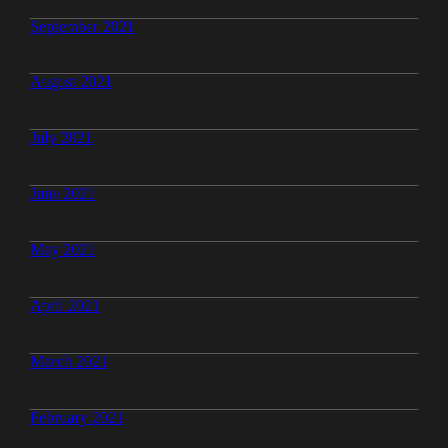September 2021
August 2021
July 2021
June 2021
May 2021
April 2021
March 2021
February 2021